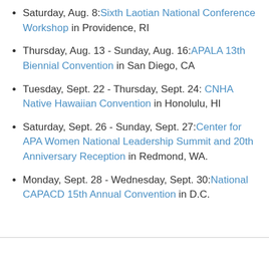Saturday, Aug. 8: Sixth Laotian National Conference Workshop in Providence, RI
Thursday, Aug. 13 - Sunday, Aug. 16: APALA 13th Biennial Convention in San Diego, CA
Tuesday, Sept. 22 - Thursday, Sept. 24: CNHA Native Hawaiian Convention in Honolulu, HI
Saturday, Sept. 26 - Sunday, Sept. 27: Center for APA Women National Leadership Summit and 20th Anniversary Reception in Redmond, WA.
Monday, Sept. 28 - Wednesday, Sept. 30: National CAPACD 15th Annual Convention in D.C.